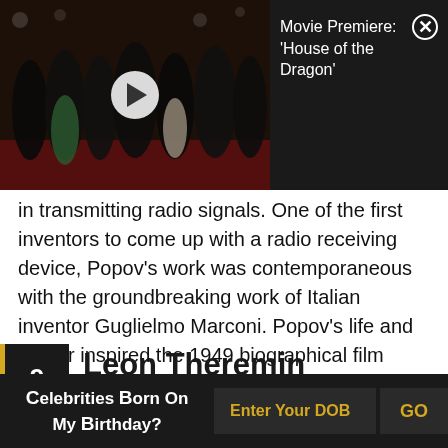[Figure (screenshot): Video thumbnail showing crowd at a movie premiere with a play button overlay, and text 'Movie Premiere: ‘House of the Dragon’' with a close button on dark background]
in transmitting radio signals. One of the first inventors to come up with a radio receiving device, Popov's work was contemporaneous with the groundbreaking work of Italian inventor Guglielmo Marconi. Popov's life and career inspired the 1949 biographical film Alexander Popov which was directed by Herbert Rappaport.
9 Leon Theremin
(Inventor of the First Electronic Musical Instrument
Celebrities Born On My Birthday? Enter Your DOB GO